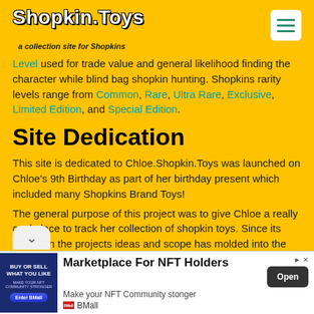Shopkin.Toys — a collection site for Shopkins
Level used for trade value and general likelihood finding the character while blind bag shopkin hunting. Shopkins rarity levels range from Common, Rare, Ultra Rare, Exclusive, Limited Edition, and Special Edition.
Site Dedication
This site is dedicated to Chloe.Shopkin.Toys was launched on Chloe's 9th Birthday as part of her birthday present which included many Shopkins Brand Toys!
The general purpose of this project was to give Chloe a really cool place to track her collection of shopkin toys. Since its inception the projects ideas and scope has molded into the site you are visiting
[Figure (infographic): Advertisement for BMall NFT Marketplace with image, title 'Marketplace For NFT Holders', tagline 'Make your NFT Community stonger', and Open button]